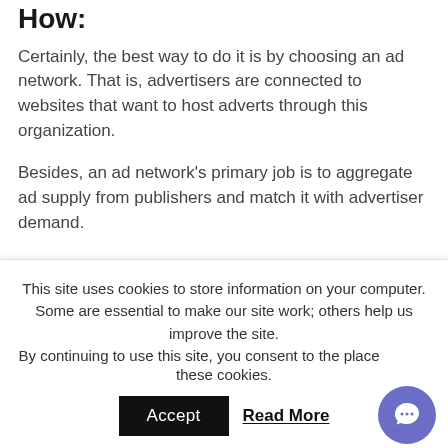How:
Certainly, the best way to do it is by choosing an ad network. That is, advertisers are connected to websites that want to host adverts through this organization.
Besides, an ad network's primary job is to aggregate ad supply from publishers and match it with advertiser demand.
To display adverts in specified regions of your website, most ad systems use an automated network. You get a portion of
This site uses cookies to store information on your computer. Some are essential to make our site work; others help us improve the site. By continuing to use this site, you consent to the placement of these cookies.